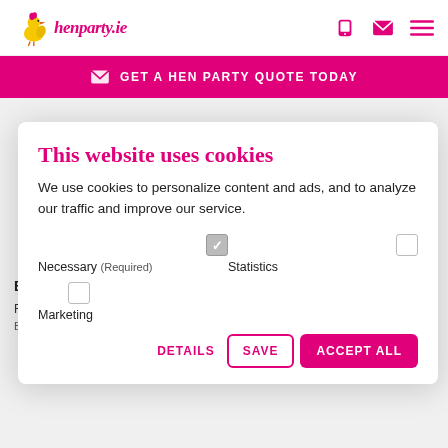henparty.ie
GET A HEN PARTY QUOTE TODAY
This website uses cookies
We use cookies to personalize content and ads, and to analyze our traffic and improve our service.
Necessary (Required)  Statistics  Marketing
DETAILS  SAVE  ACCEPT ALL
BigB...
From
BigPotatoes is one taking our guests, social and team